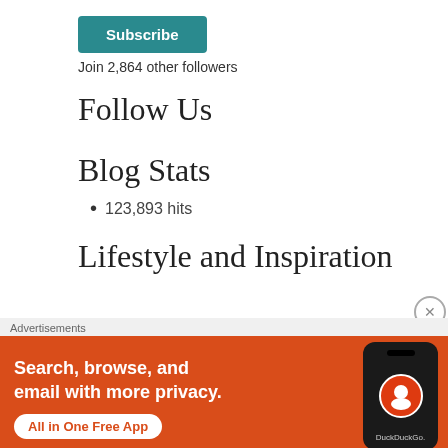[Figure (other): Subscribe button — teal/dark cyan rounded rectangle with white bold text 'Subscribe']
Join 2,864 other followers
Follow Us
Blog Stats
123,893 hits
Lifestyle and Inspiration
Advertisements
[Figure (other): DuckDuckGo advertisement banner: orange/red background with white bold text 'Search, browse, and email with more privacy.' and a white pill button 'All in One Free App', with a smartphone showing the DuckDuckGo logo on the right side.]